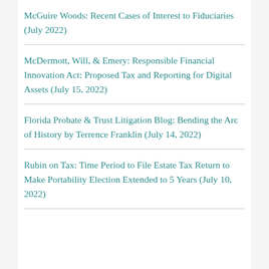McGuire Woods: Recent Cases of Interest to Fiduciaries (July 2022)
McDermott, Will, & Emery: Responsible Financial Innovation Act: Proposed Tax and Reporting for Digital Assets (July 15, 2022)
Florida Probate & Trust Litigation Blog: Bending the Arc of History by Terrence Franklin (July 14, 2022)
Rubin on Tax: Time Period to File Estate Tax Return to Make Portability Election Extended to 5 Years (July 10, 2022)